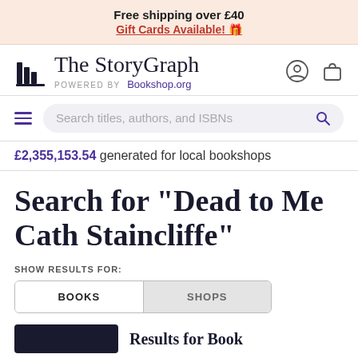Free shipping over £40
Gift Cards Available! 🎁
[Figure (logo): The StoryGraph logo with bookshelf icon, text 'The StoryGraph' and 'POWERED BY Bookshop.org']
Search titles, authors, and ISBNs
£2,355,153.54 generated for local bookshops
Search for "Dead to Me Cath Staincliffe"
SHOW RESULTS FOR:
BOOKS
SHOPS